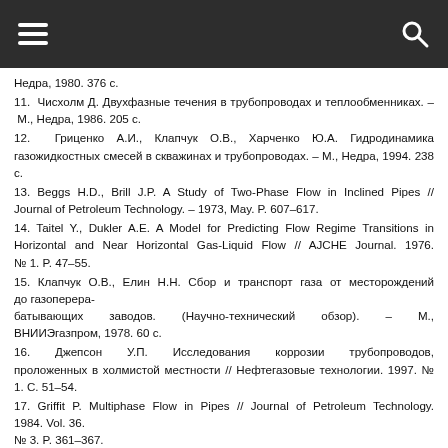Недра, 1980. 376 с.
11. Чисхолм Д. Двухфазные течения в трубопроводах и теплообменниках. – М., Недра, 1986. 205 с.
12. Гриценко А.И., Клапчук О.В., Харченко Ю.А. Гидродинамика газожидкостных смесей в скважинах и трубопроводах. – М., Недра, 1994. 238 с.
13. Beggs H.D., Brill J.P. A Study of Two-Phase Flow in Inclined Pipes // Journal of Petroleum Technology. – 1973, May. P. 607–617.
14. Taitel Y., Dukler A.E. A Model for Predicting Flow Regime Transitions in Horizontal and Near Horizontal Gas-Liquid Flow // AJCHE Journal. 1976. № 1. P. 47–55.
15. Клапчук О.В., Елин Н.Н. Сбор и транспорт газа от месторождений до газоперерабатывающих заводов. (Научно-технический обзор). – М., ВНИИЭгазпром, 1978. 60 с.
16. Джепсон У.П. Исследования коррозии трубопроводов, проложенных в холмистой местности // Нефтегазовые технологии. 1997. № 1. С. 51–54.
17. Griffit P. Multiphase Flow in Pipes // Journal of Petroleum Technology. 1984. Vol. 36.
№ 3. P. 361–367.
18. Киченко А.Б., Киченко С.Б. К вопросу о выборе методики для